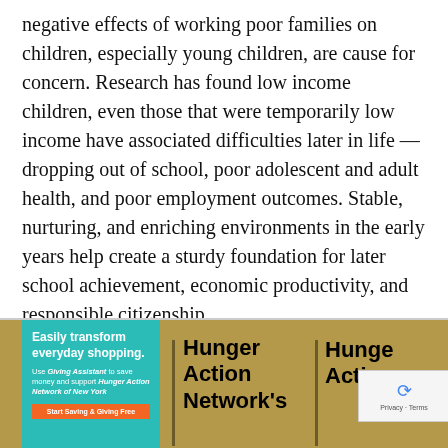negative effects of working poor families on children, especially young children, are cause for concern. Research has found low income children, even those that were temporarily low income have associated difficulties later in life — dropping out of school, poor adolescent and adult health, and poor employment outcomes. Stable, nurturing, and enriching environments in the early years help create a sturdy foundation for later school achievement, economic productivity, and responsible citizenship.
[Figure (screenshot): Footer area with tan/golden background containing a teal advertisement box for Giving Assistant, two vertical dividers, a 'Hunger Action Network's' heading column, a partial 'Hunger Action' heading column, and a reCAPTCHA widget in the bottom right corner.]